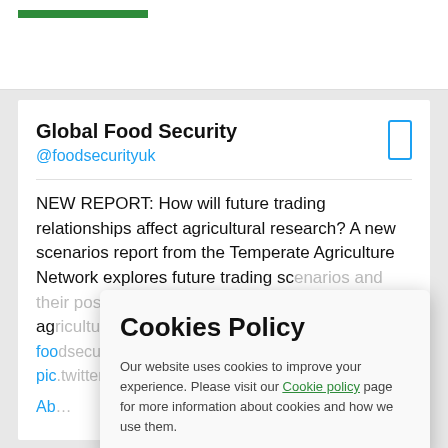[Figure (logo): Green horizontal bar logo at top of page]
Global Food Security
@foodsecurityuk
NEW REPORT: How will future trading relationships affect agricultural research? A new scenarios report from the Temperate Agriculture Network explores future trading scenarios and their possible impact on agricultural research priorities foodsecurityuk… pic.twitter.com…
Ab…
Cookies Policy
Our website uses cookies to improve your experience. Please visit our Cookie policy page for more information about cookies and how we use them.